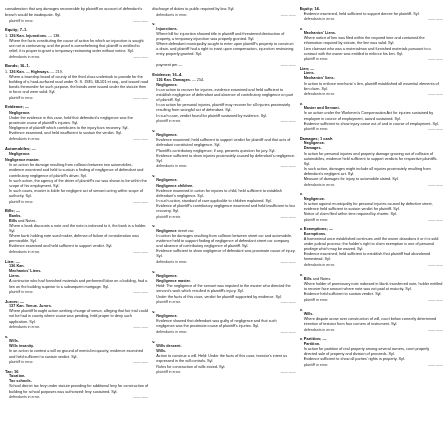Legal reference entries, three-column layout with case citations and annotations.